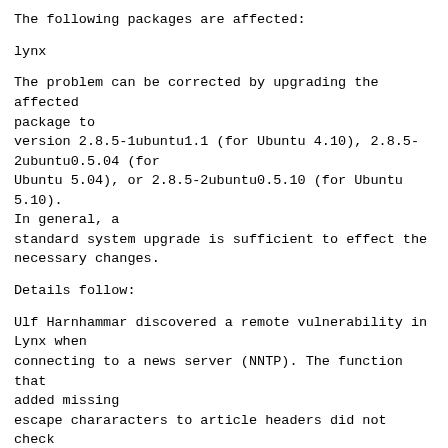The following packages are affected:
lynx
The problem can be corrected by upgrading the affected package to version 2.8.5-1ubuntu1.1 (for Ubuntu 4.10), 2.8.5-2ubuntu0.5.04 (for Ubuntu 5.04), or 2.8.5-2ubuntu0.5.10 (for Ubuntu 5.10). In general, a standard system upgrade is sufficient to effect the necessary changes.
Details follow:
Ulf Harnhammar discovered a remote vulnerability in Lynx when connecting to a news server (NNTP). The function that added missing escape chararacters to article headers did not check the size of the target buffer. Specially crafted news entries could trigger a buffer overflow, which could be exploited to execute arbitrary code with the privileges of the user running lynx. In order to exploit this, the user is not even required to actively visit a news site with Lynx since a malicious HTML page could automatically